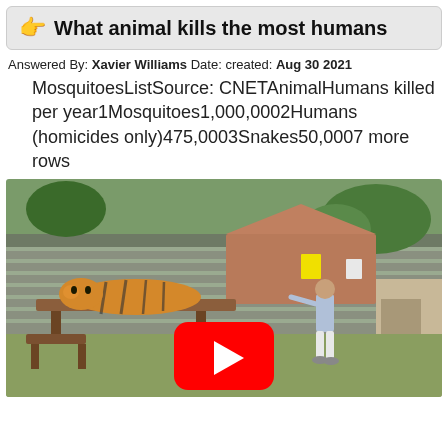What animal kills the most humans
Answered By: Xavier Williams Date: created: Aug 30 2021
MosquitoesListSource: CNETAnimalHumans killed per year1Mosquitoes1,000,0002Humans (homicides only)475,0003Snakes50,0007 more rows
[Figure (screenshot): YouTube video thumbnail showing a tiger resting on a wooden platform and a man gesturing toward it in an outdoor enclosure. A red YouTube play button is overlaid in the center.]